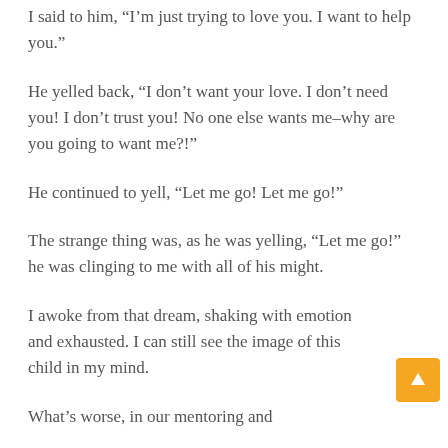I said to him, “I’m just trying to love you. I want to help you.”
He yelled back, “I don’t want your love. I don’t need you! I don’t trust you! No one else wants me–why are you going to want me?!”
He continued to yell, “Let me go! Let me go!”
The strange thing was, as he was yelling, “Let me go!” he was clinging to me with all of his might.
I awoke from that dream, shaking with emotion and exhausted. I can still see the image of this child in my mind.
What’s worse, in our mentoring and